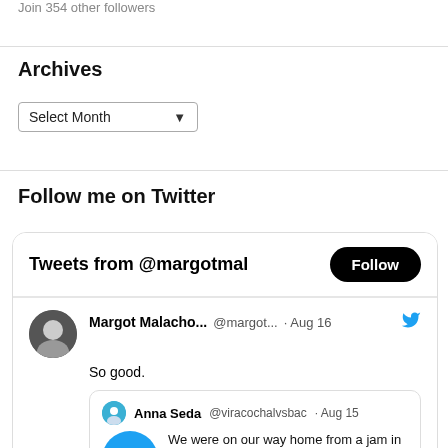Join 354 other followers
Archives
Select Month
Follow me on Twitter
[Figure (screenshot): Twitter widget showing Tweets from @margotmal with a Follow button, and a tweet by Margot Malacho... (@margot...) on Aug 16 saying 'So good.' with a retweet from Anna Seda @viracochalvsbac on Aug 15 showing a video with text 'We were on our way home from a jam in Boston and had a']